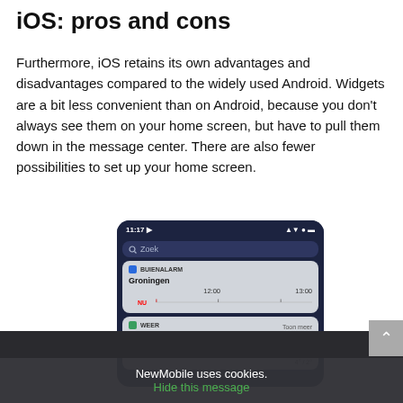iOS: pros and cons
Furthermore, iOS retains its own advantages and disadvantages compared to the widely used Android. Widgets are a bit less convenient than on Android, because you don't always see them on your home screen, but have to pull them down in the message center. There are also fewer possibilities to set up your home screen.
[Figure (screenshot): iOS widget screen screenshot showing time 11:17, a search bar labeled 'Zoek', a BUIENALARM widget for Groningen with timeline from NU to 12:00 and 13:00, and a WEER (weather) widget showing Groningen, Halfbewolkt, Kans op sneeuw: 30%, 4 degrees, 4°/2°]
NewMobile uses cookies. Hide this message